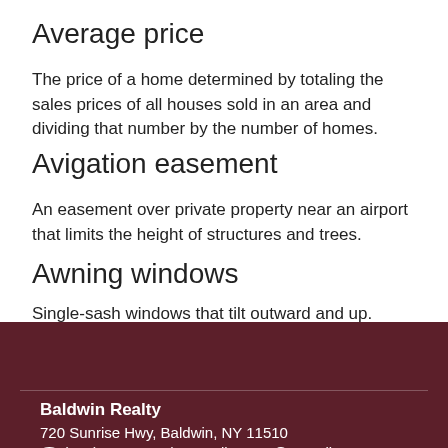Average price
The price of a home determined by totaling the sales prices of all houses sold in an area and dividing that number by the number of homes.
Avigation easement
An easement over private property near an airport that limits the height of structures and trees.
Awning windows
Single-sash windows that tilt outward and up.
Baldwin Realty
720 Sunrise Hwy, Baldwin, NY 11510
(516) 678-4000 | marilymann@optonline.net